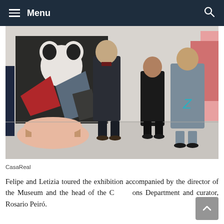Menu
[Figure (photo): Felipe and Letizia visiting an art exhibition at a museum, accompanied by the museum director and another person, standing in front of abstract artworks on white walls, with a pink sculpture on the floor in the foreground.]
CasaReal
Felipe and Letizia toured the exhibition accompanied by the director of the Museum and the head of the Collections Department and curator, Rosario Peiró.